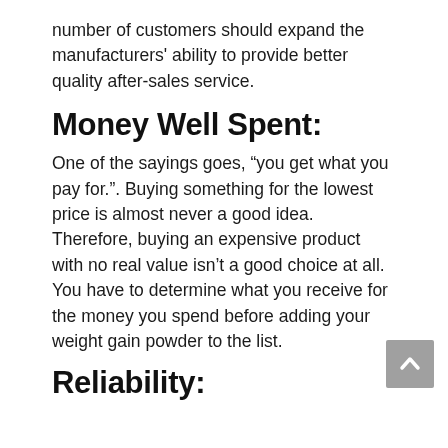number of customers should expand the manufacturers' ability to provide better quality after-sales service.
Money Well Spent:
One of the sayings goes, “you get what you pay for.”. Buying something for the lowest price is almost never a good idea. Therefore, buying an expensive product with no real value isn’t a good choice at all. You have to determine what you receive for the money you spend before adding your weight gain powder to the list.
Reliability: